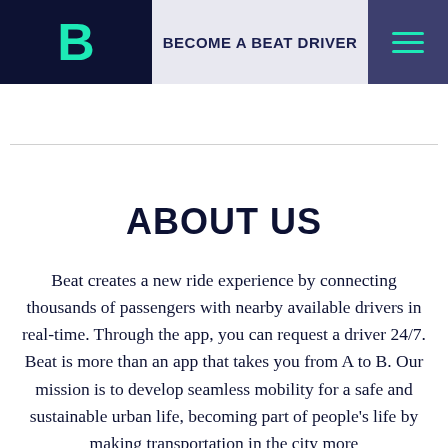BECOME A BEAT DRIVER
ABOUT US
Beat creates a new ride experience by connecting thousands of passengers with nearby available drivers in real-time. Through the app, you can request a driver 24/7. Beat is more than an app that takes you from A to B. Our mission is to develop seamless mobility for a safe and sustainable urban life, becoming part of people's life by making transportation in the city more